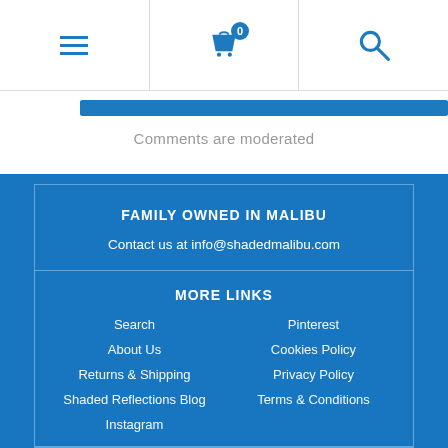Navigation bar with hamburger menu, cart (0 items), and search icon
Comments are moderated
FAMILY OWNED IN MALIBU
Contact us at info@shadedmalibu.com
MORE LINKS
Search
Pinterest
About Us
Cookies Policy
Returns & Shipping
Privacy Policy
Shaded Reflections Blog
Terms & Conditions
Instagram
NEWSLETTER